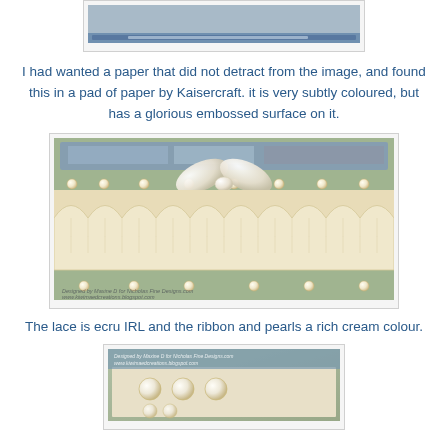[Figure (photo): Top portion of a crafting card image, partially visible at top of page]
I had wanted a paper that did not detract from the image, and found this in a pad of paper by Kaisercraft.  it is very subtly coloured, but has a glorious embossed surface on it.
[Figure (photo): Craft card showing ecru lace trim with ribbon bow and pearl embellishments on green background, with watermark text]
The lace is ecru IRL and the ribbon and pearls a rich cream colour.
[Figure (photo): Close-up of cream pearl embellishments on embossed paper background with watermark text]